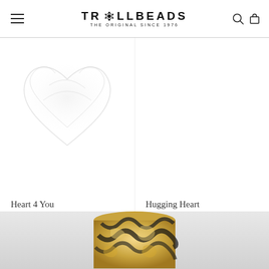[Figure (logo): Trollbeads logo with ornamental icon between TR and LLBEADS, subtitle THE ORIGINAL SINCE 1976]
[Figure (photo): Partial product image of Heart 4 You bead, white/grey heart shape, cropped at top]
[Figure (photo): Partial product image of Hugging Heart bead, right side, white background, cropped at top]
Heart 4 You
£40.00
Hugging Heart
£30.00
[Figure (photo): Close-up bottom strip of a gold and black decorative bead with ornate scroll pattern]